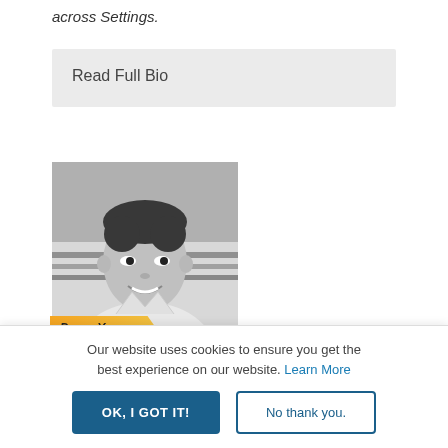across Settings.
Read Full Bio
[Figure (photo): Black and white portrait photo of Deran Young, a smiling woman with short hair, wearing a white top. A golden ribbon banner at the bottom reads 'Deran Young'.]
DERAN YOUNG, LCSW
Our website uses cookies to ensure you get the best experience on our website. Learn More
OK, I GOT IT!
No thank you.